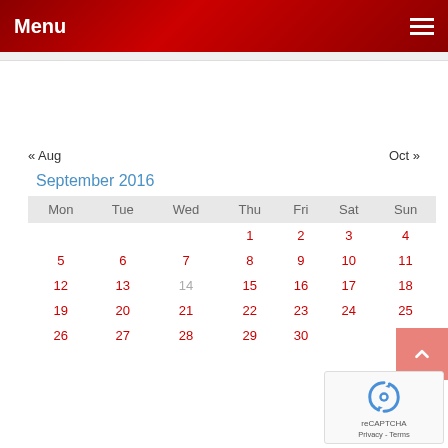Menu
« Aug
Oct »
September 2016
| Mon | Tue | Wed | Thu | Fri | Sat | Sun |
| --- | --- | --- | --- | --- | --- | --- |
|  |  |  | 1 | 2 | 3 | 4 |
| 5 | 6 | 7 | 8 | 9 | 10 | 11 |
| 12 | 13 | 14 | 15 | 16 | 17 | 18 |
| 19 | 20 | 21 | 22 | 23 | 24 | 25 |
| 26 | 27 | 28 | 29 | 30 |  |  |